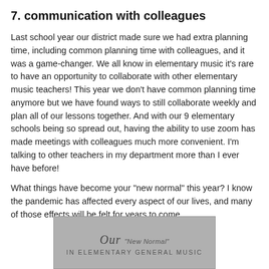7. communication with colleagues
Last school year our district made sure we had extra planning time, including common planning time with colleagues, and it was a game-changer. We all know in elementary music it's rare to have an opportunity to collaborate with other elementary music teachers! This year we don't have common planning time anymore but we have found ways to still collaborate weekly and plan all of our lessons together. And with our 9 elementary schools being so spread out, having the ability to use zoom has made meetings with colleagues much more convenient. I'm talking to other teachers in my department more than I ever have before!
What things have become your "new normal" this year? I know the pandemic has affected every aspect of our lives, and many of those effects will be felt for years to come.
[Figure (illustration): An image with gray background showing the text 'Our "New Normal"' in stylized script font, with subtitle 'In Elementary General Music' in spaced uppercase letters below.]